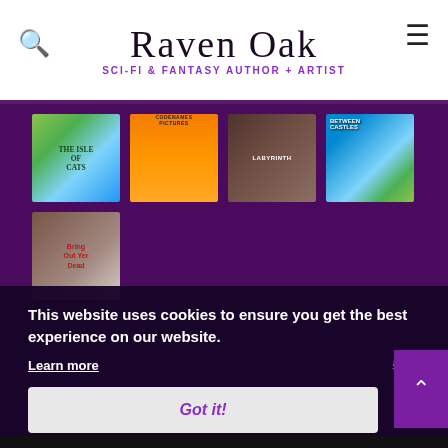Raven Oak — SCI-FI & FANTASY AUTHOR + ARTIST
[Figure (photo): Grid of board game covers: The Isle of Cats, Codenames Pictures, Labyrinth, Between Two Castles, Bring Out Yer Dead]
This website uses cookies to ensure you get the best experience on our website.
Learn more
Got it!
ameGeek